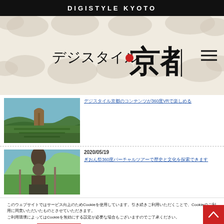DIGISTYLE KYOTO
[Figure (logo): Digistyle Kyoto logo in Japanese (デジスタイル京都) with decorative cloud pattern background]
[Figure (photo): Tea field terraces on a hillside with blue sky]
デジスタイル京都のコンテンツが360度VRで楽しめる
2020/05/19
[Figure (photo): Statue in a park with trees and a pathway]
ぎおん祭360度バーチャルツアーで歴史と文化を探索できます
このウェブサイトではサービス向上のためCookieを使用しています。引き続きご利用いただくことで、Cookieのご利用に同意いただいたものとさせていただきます。
詳細はこちら
同意して閉じる